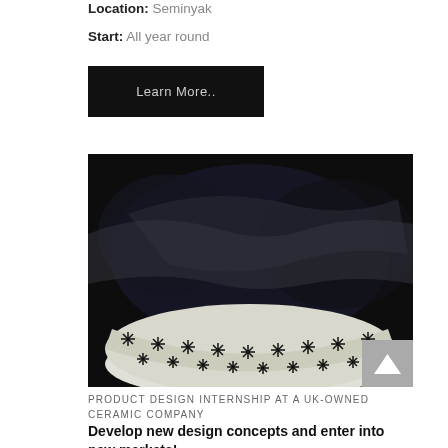Location: Seminyak
Start: All year round
Learn More..
[Figure (photo): Black and white photograph of a ceramic bowl with decorative geometric star/snowflake pattern on a dark draped fabric background]
PRODUCT DESIGN INTERNSHIP AT A UK-OWNED CERAMIC COMPANY
Develop new design concepts and enter into new markets!